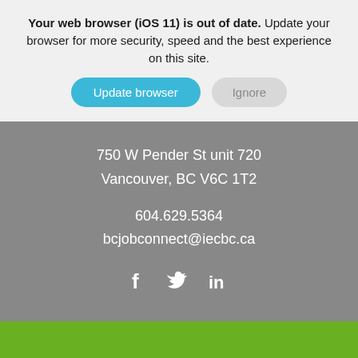Your web browser (iOS 11) is out of date. Update your browser for more security, speed and the best experience on this site.
[Figure (screenshot): Two buttons: 'Update browser' (blue/teal rounded) and 'Ignore' (gray rounded)]
750 W Pender St unit 720
Vancouver, BC V6C 1T2
604.629.5364
bcjobconnect@iecbc.ca
[Figure (other): Social media icons: Facebook (f), Twitter (bird), LinkedIn (in)]
Did you know?